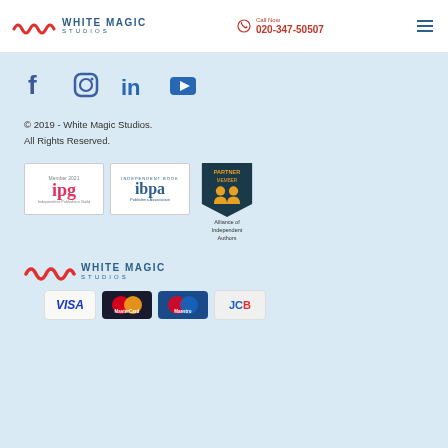White Magic Studios | Call Now 020-347-50507
[Figure (logo): Social media icons: Facebook, Instagram, LinkedIn, YouTube]
© 2019 - White Magic Studios.
All Rights Reserved.
[Figure (logo): IPG Member 2021 badge, IBPA Publishers Association badge, Alliance of Independent Authors Partner Member badge]
[Figure (logo): White Magic Studios logo with wave icon]
[Figure (logo): Payment method logos: Visa, MasterCard, Maestro, JCB]